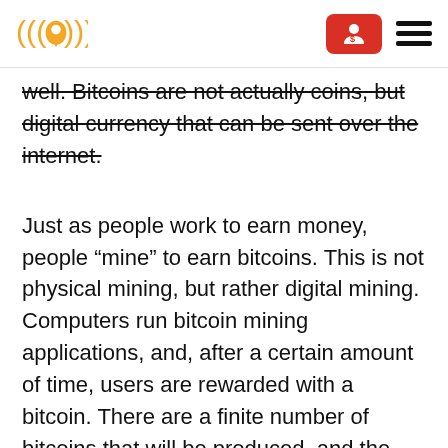Logo and navigation header with bitcoin/location app branding
well. Bitcoins are not actually coins, but digital currency that can be sent over the internet.
Just as people work to earn money, people “mine” to earn bitcoins. This is not physical mining, but rather digital mining. Computers run bitcoin mining applications, and, after a certain amount of time, users are rewarded with a bitcoin. There are a finite number of bitcoins that will be produced, and the creation of them is scheduled so that they will be produced at a slower rate as fewer of them remain. The last bitcoin is expected to be mined in 2140